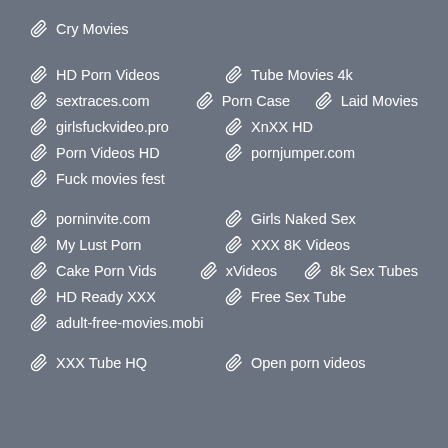Cry Movies
HD Porn Videos
Tube Movies 4k
sextraces.com
Porn Case
Laid Movies
girlsfuckvideo.pro
XnXX HD
Porn Videos HD
pornjumper.com
Fuck movies fest
porninvite.com
Girls Naked Sex
My Lust Porn
XXX 8K Videos
Cake Porn Vids
xVideos
8k Sex Tubes
HD Ready XXX
Free Sex Tube
adult-free-movies.mobi
XXX Tube HQ
Open porn videos